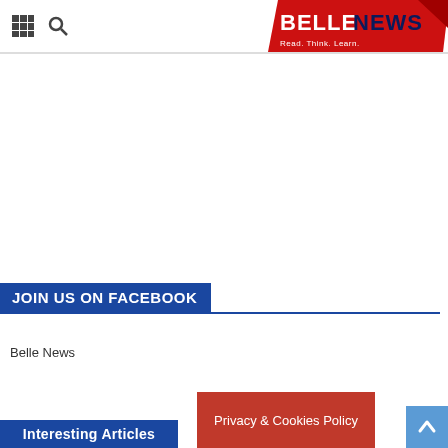BELLE NEWS - Read. Think. Learn.
[Figure (logo): Belle News logo: red ribbon background with BELLE in white bold and NEWS in navy blue bold, tagline Read. Think. Learn.]
JOIN US ON FACEBOOK
Belle News
Interesting Articles
Privacy & Cookies Policy